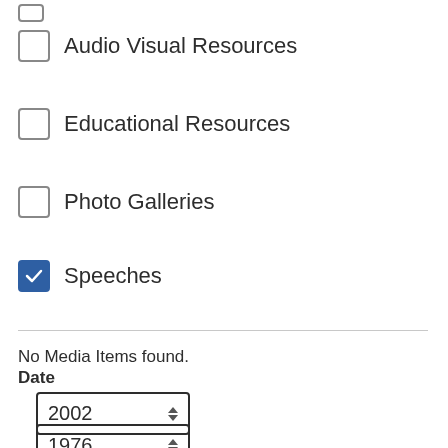Audio Visual Resources
Educational Resources
Photo Galleries
Speeches (checked)
No Media Items found.
Date
2002
1976